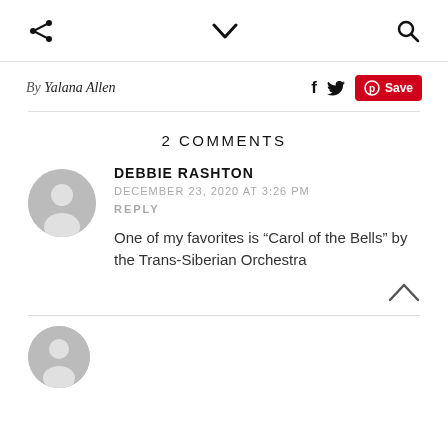share / chevron-down / search icons
By Yalana Allen
f  twitter  Save
2 COMMENTS
DEBBIE RASHTON
DECEMBER 23, 2020 AT 3:26 PM
REPLY
One of my favorites is “Carol of the Bells” by the Trans-Siberian Orchestra